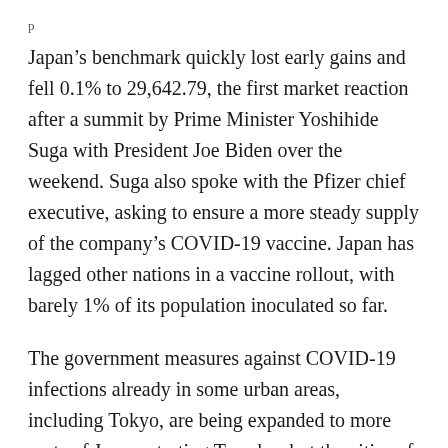p
Japan's benchmark quickly lost early gains and fell 0.1% to 29,642.79, the first market reaction after a summit by Prime Minister Yoshihide Suga with President Joe Biden over the weekend. Suga also spoke with the Pfizer chief executive, asking to ensure a more steady supply of the company's COVID-19 vaccine. Japan has lagged other nations in a vaccine rollout, with barely 1% of its population inoculated so far.
The government measures against COVID-19 infections already in some urban areas, including Tokyo, are being expanded to more parts of Japan, starting Tuesday, but the cities of Tokyo and Osaka are considering strengthening them to a “state of emergency.” Japan has never had a lockdown, and its